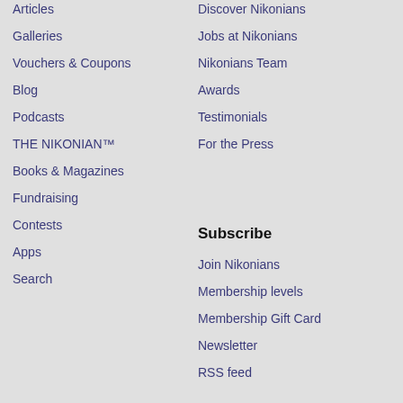Articles
Galleries
Vouchers & Coupons
Blog
Podcasts
THE NIKONIAN™
Books & Magazines
Fundraising
Contests
Apps
Search
Discover Nikonians
Jobs at Nikonians
Nikonians Team
Awards
Testimonials
For the Press
Subscribe
Join Nikonians
Membership levels
Membership Gift Card
Newsletter
RSS feed